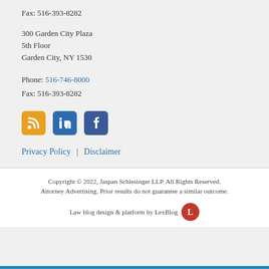Fax: 516-393-8282
300 Garden City Plaza
5th Floor
Garden City, NY 1530
Phone: 516-746-8000
Fax: 516-393-8282
[Figure (illustration): Three social media icons: RSS (orange), LinkedIn (blue), Facebook (dark blue)]
Privacy Policy | Disclaimer
Copyright © 2022, Jaspan Schlesinger LLP. All Rights Reserved.
Attorney Advertising. Prior results do not guarantee a similar outcome.
Law blog design & platform by LexBlog